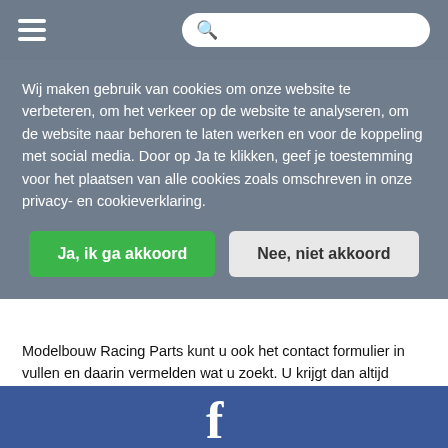[Figure (screenshot): Navigation bar with hamburger menu icon on left and search bar with magnifier icon on right, gray background]
Wij maken gebruik van cookies om onze website te verbeteren, om het verkeer op de website te analyseren, om de website naar behoren te laten werken en voor de koppeling met social media. Door op Ja te klikken, geef je toestemming voor het plaatsen van alle cookies zoals omschreven in onze privacy- en cookieverklaring.
Ja, ik ga akkoord
Nee, niet akkoord
Modelbouw Racing Parts kunt u ook het contact formulier in vullen en daarin vermelden wat u zoekt. U krijgt dan altijd antwoord op uw vraag. Verder kan het voorkomen dat bepaalde artikelen niet bij de geselecteerde categorie staat. De rede hiervoor is dat het artikel in meerdere wagens gebruikt kan worden. Probeer daarom ook de zoek functie op artikelnummer.
[Figure (logo): Facebook logo icon in white on blue background footer bar]